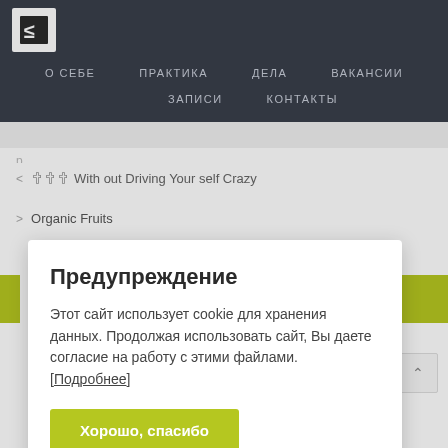О СЕБЕ  ПРАКТИКА  ДЕЛА  ВАКАНСИИ  ЗАПИСИ  КОНТАКТЫ
< 🔸🔸🔸 With out Driving Your self Crazy
> Organic Fruits
Предупреждение
Этот сайт использует cookie для хранения данных. Продолжая использовать сайт, Вы даете согласие на работу с этими файлами. [Подробнее]
Хорошо, спасибо